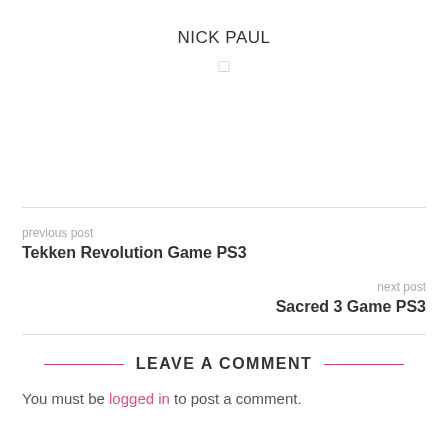NICK PAUL
□
previous post
Tekken Revolution Game PS3
next post
Sacred 3 Game PS3
LEAVE A COMMENT
You must be logged in to post a comment.